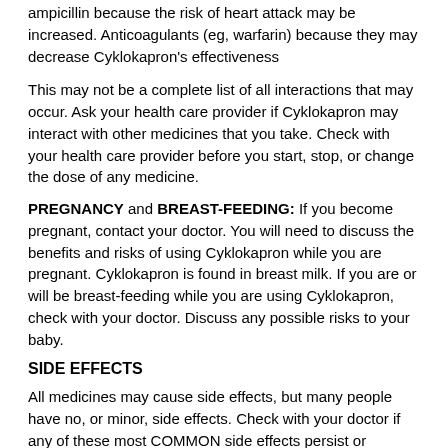ampicillin because the risk of heart attack may be increased. Anticoagulants (eg, warfarin) because they may decrease Cyklokapron's effectiveness
This may not be a complete list of all interactions that may occur. Ask your health care provider if Cyklokapron may interact with other medicines that you take. Check with your health care provider before you start, stop, or change the dose of any medicine.
PREGNANCY and BREAST-FEEDING: If you become pregnant, contact your doctor. You will need to discuss the benefits and risks of using Cyklokapron while you are pregnant. Cyklokapron is found in breast milk. If you are or will be breast-feeding while you are using Cyklokapron, check with your doctor. Discuss any possible risks to your baby.
SIDE EFFECTS
All medicines may cause side effects, but many people have no, or minor, side effects. Check with your doctor if any of these most COMMON side effects persist or become bothersome:
Diarrhea; nausea; vomiting.
Seek medical attention right away if any of these SEVERE side effects occur:
Severe allergic reactions (rash; hives; itching; difficulty breathing; tightness in the chest; swelling of the mouth, face, lips, or tongue); calf or leg pain,